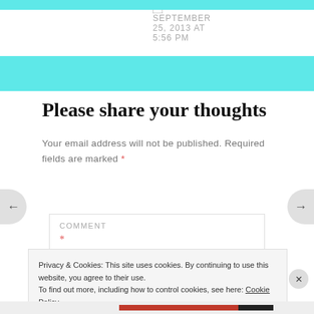SEPTEMBER 25, 2013 AT 5:56 PM
Please share your thoughts
Your email address will not be published. Required fields are marked *
COMMENT *
Privacy & Cookies: This site uses cookies. By continuing to use this website, you agree to their use. To find out more, including how to control cookies, see here: Cookie Policy
Close and accept